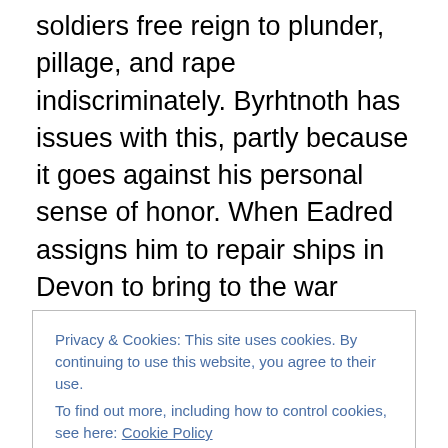soldiers free reign to plunder, pillage, and rape indiscriminately. Byrhtnoth has issues with this, partly because it goes against his personal sense of honor. When Eadred assigns him to repair ships in Devon to bring to the war effort, Byrhtnoth finds himself in the middle of a battle to revenge himself upon a man who harmed his wife (in a previous book) and a quest to find his long-lost father.
This novel is the third in the Byrhtnoth Chronicles series. While it was very readable and told a fast-paced story, I
Privacy & Cookies: This site uses cookies. By continuing to use this website, you agree to their use.
To find out more, including how to control cookies, see here: Cookie Policy
Close and accept
didn't come into use until the 20th century. These are